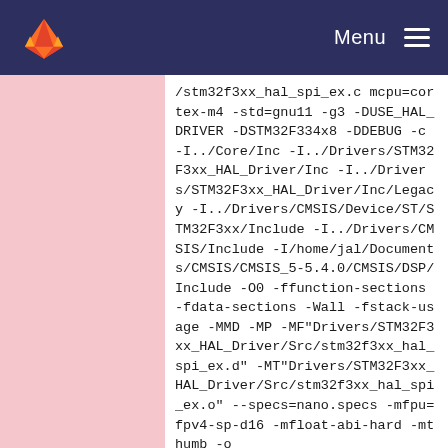GitLab — Menu
/stm32f3xx_hal_spi_ex.c mcpu=cortex-m4 -std=gnu11 -g3 -DUSE_HAL_DRIVER -DSTM32F334x8 -DDEBUG -c -I../Core/Inc -I../Drivers/STM32F3xx_HAL_Driver/Inc -I../Drivers/STM32F3xx_HAL_Driver/Inc/Legacy -I../Drivers/CMSIS/Device/ST/STM32F3xx/Include -I../Drivers/CMSIS/Include -I/home/jal/Documents/CMSIS/CMSIS_5-5.4.0/CMSIS/DSP/Include -O0 -ffunction-sections -fdata-sections -Wall -fstack-usage -MMD -MP -MF"Drivers/STM32F3xx_HAL_Driver/Src/stm32f3xx_hal_spi_ex.d" -MT"Drivers/STM32F3xx_HAL_Driver/Src/stm32f3xx_hal_spi_ex.o" --specs=nano.specs -mfpu=fpv4-sp-d16 -mfloat-abi-hard -mthumb -o